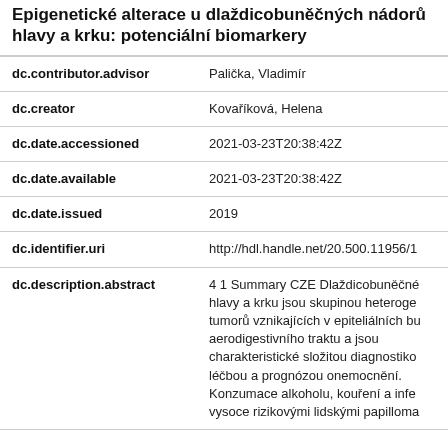Epigenetické alterace u dlaždicobuněčných nádorů hlavy a krku: potenciální biomarkery
| Field | Value |
| --- | --- |
| dc.contributor.advisor | Palička, Vladimír |
| dc.creator | Kovaříková, Helena |
| dc.date.accessioned | 2021-03-23T20:38:42Z |
| dc.date.available | 2021-03-23T20:38:42Z |
| dc.date.issued | 2019 |
| dc.identifier.uri | http://hdl.handle.net/20.500.11956/1 |
| dc.description.abstract | 4 1 Summary CZE Dlaždicobuněčné hlavy a krku jsou skupinou heteroge tumorů vznikajících v epiteliálních bu aerodigestivního traktu a jsou charakteristické složitou diagnostiko léčbou a prognózou onemocnění. Konzumace alkoholu, kouření a infe vysoce rizikovými lidskými papilloma |